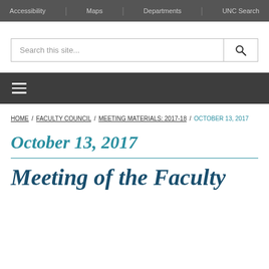Accessibility | Maps | Departments | UNC Search
[Figure (screenshot): Search bar with placeholder text 'Search this site...' and a magnifying glass button]
[Figure (screenshot): Dark navigation bar with hamburger menu icon (three horizontal lines)]
HOME / FACULTY COUNCIL / MEETING MATERIALS: 2017-18 / OCTOBER 13, 2017
October 13, 2017
Meeting of the Faculty